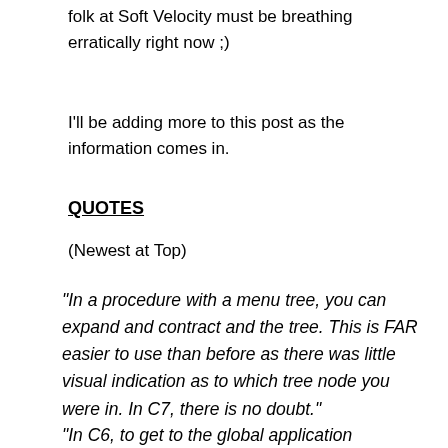folk at Soft Velocity must be breathing erratically right now ;)
I'll be adding more to this post as the information comes in.
QUOTES
(Newest at Top)
"In a procedure with a menu tree, you can expand and contract and the tree.  This is FAR easier to use than before as there was little visual indication as to which tree node you were in.  In C7, there is no doubt."
"In C6, to get  to the global application